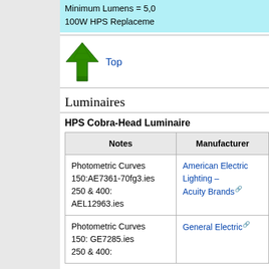Minimum Lumens = 5,000
100W HPS Replacement
[Figure (illustration): Green upward arrow icon with tree silhouette pattern]
Top
Luminaires
HPS Cobra-Head Luminaire
| Notes | Manufacturer |
| --- | --- |
| Photometric Curves 150:AE7361-70fg3.ies 250 & 400: AEL12963.ies | American Electric Lighting – Acuity Brands |
| Photometric Curves 150: GE7285.ies 250 & 400: | General Electric |